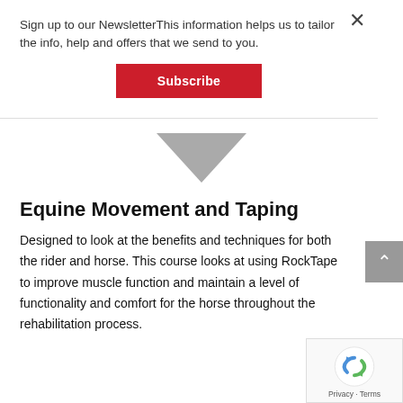Sign up to our NewsletterThis information helps us to tailor the info, help and offers that we send to you.
Subscribe
[Figure (other): Downward pointing grey chevron/arrow]
Equine Movement and Taping
Designed to look at the benefits and techniques for both the rider and horse. This course looks at using RockTape to improve muscle function and maintain a level of functionality and comfort for the horse throughout the rehabilitation process.
[Figure (other): reCAPTCHA badge with Privacy and Terms links]